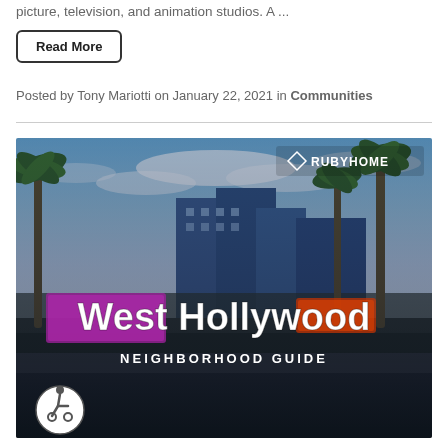picture, television, and animation studios. A ...
Read More
Posted by Tony Mariotti on January 22, 2021 in Communities
[Figure (photo): West Hollywood Neighborhood Guide image with street scene, palm trees, buildings, and RubyHome logo overlay. Bold white text reads 'West Hollywood' and 'NEIGHBORHOOD GUIDE'.]